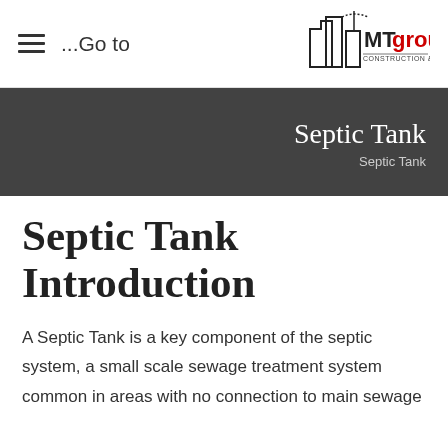≡ ...Go to
[Figure (logo): MTgroup Construction & Development logo with building silhouette graphic]
Septic Tank
Septic Tank
Septic Tank Introduction
A Septic Tank is a key component of the septic system, a small scale sewage treatment system common in areas with no connection to main sewage